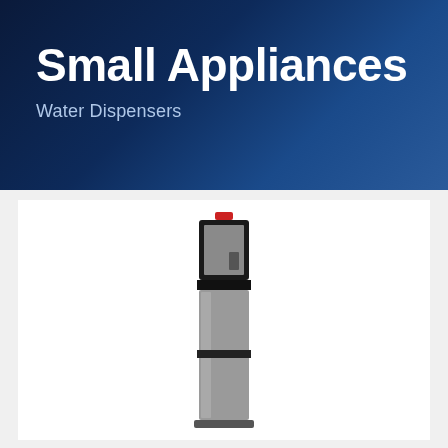Small Appliances
Water Dispensers
[Figure (photo): A freestanding bottom-load water dispenser in silver/black finish with a red indicator light on top]